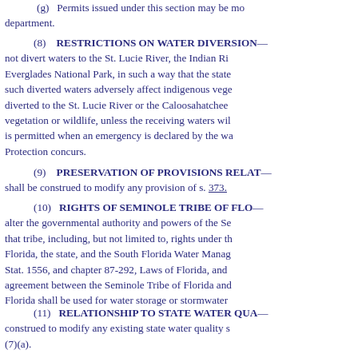(g) Permits issued under this section may be modified by the department.
(8) RESTRICTIONS ON WATER DIVERSION.— ... not divert waters to the St. Lucie River, the Indian River Lagoon, or Everglades National Park, in such a way that the state... such diverted waters adversely affect indigenous vegetation... diverted to the St. Lucie River or the Caloosahatchee... vegetation or wildlife, unless the receiving waters will... is permitted when an emergency is declared by the water... Protection concurs.
(9) PRESERVATION OF PROVISIONS RELATING TO... shall be construed to modify any provision of s. 373....
(10) RIGHTS OF SEMINOLE TRIBE OF FLORIDA.— alter the governmental authority and powers of the Seminole Tribe... that tribe, including, but not limited to, rights under the... Florida, the state, and the South Florida Water Management... Stat. 1556, and chapter 87-292, Laws of Florida, and... agreement between the Seminole Tribe of Florida and... Florida shall be used for water storage or stormwater...
(11) RELATIONSHIP TO STATE WATER QUALITY... construed to modify any existing state water quality s... (7)(a).